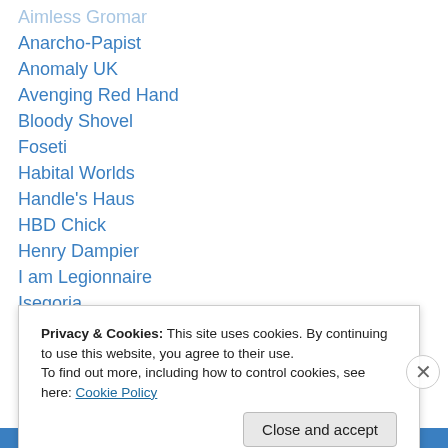Aimless Gromar
Anarcho-Papist
Anomaly UK
Avenging Red Hand
Bloody Shovel
Foseti
Habital Worlds
Handle's Haus
HBD Chick
Henry Dampier
I am Legionnaire
Isegoria
Jim's Blog
Privacy & Cookies: This site uses cookies. By continuing to use this website, you agree to their use.
To find out more, including how to control cookies, see here: Cookie Policy